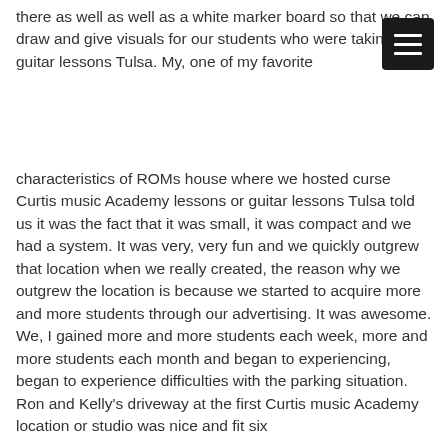there as well as well as a white marker board so that we can draw and give visuals for our students who were taking guitar lessons Tulsa. My, one of my favorite
characteristics of ROMs house where we hosted curse Curtis music Academy lessons or guitar lessons Tulsa told us it was the fact that it was small, it was compact and we had a system. It was very, very fun and we quickly outgrew that location when we really created, the reason why we outgrew the location is because we started to acquire more and more students through our advertising. It was awesome. We, I gained more and more students each week, more and more students each month and began to experiencing, began to experience difficulties with the parking situation. Ron and Kelly's driveway at the first Curtis music Academy location or studio was nice and fit six